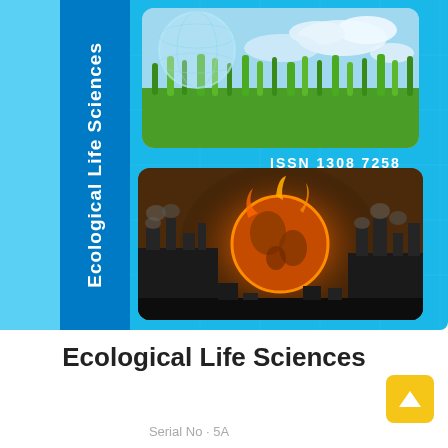[Figure (illustration): Journal cover of Ecological Life Sciences showing a nature scene with grass and globe in the top image, and an industrial/earth-on-fire scene in the bottom image, with a blue grid background and dark blue spine reading 'Ecological Life Sciences'. ISSN 1308 7258 displayed on cover.]
Ecological Life Sciences
Serial No · 5A